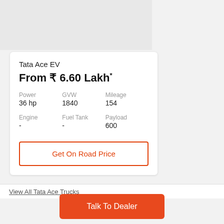[Figure (photo): Vehicle image area (gray placeholder)]
Tata Ace EV
From ₹ 6.60 Lakh*
| Power | GVW | Mileage |
| --- | --- | --- |
| 36 hp | 1840 | 154 |
| Engine | Fuel Tank | Payload |
| --- | --- | --- |
| - | - | 600 |
Get On Road Price
View All Tata Ace Trucks
Talk To Dealer